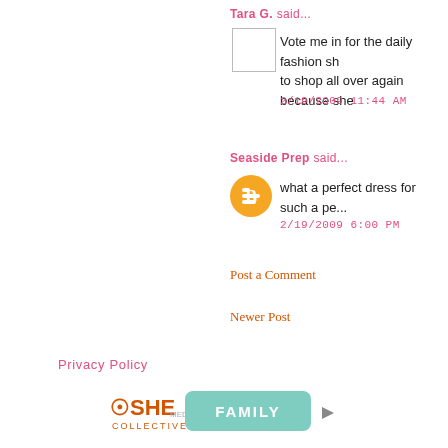Tara G. said...
Vote me in for the daily fashion sh... to shop all over again because she...
2/19/2009 11:44 AM
Seaside Prep said...
what a perfect dress for such a pe...
2/19/2009 6:00 PM
Post a Comment
Newer Post
Privacy Policy
[Figure (logo): SHE Collective FAMILY ad banner with learn more and privacy links]